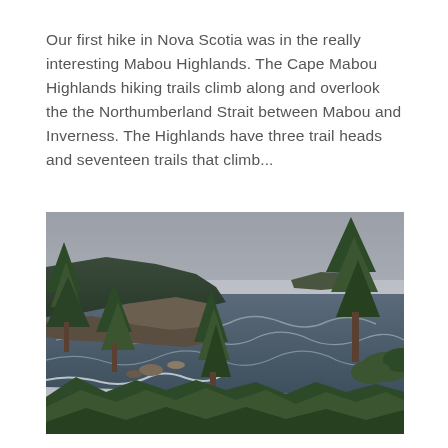Our first hike in Nova Scotia was in the really interesting Mabou Highlands. The Cape Mabou Highlands hiking trails climb along and overlook the the Northumberland Strait between Mabou and Inverness. The Highlands have three trail heads and seventeen trails that climb...
[Figure (photo): Coastal landscape photo showing a rocky shoreline with evergreen trees in the foreground, a rocky headland to the left, whitecapped ocean water, and an overcast grey sky. A distant hill or small mountain is visible on the right horizon. The scene is from the Cape Mabou Highlands area of Nova Scotia.]